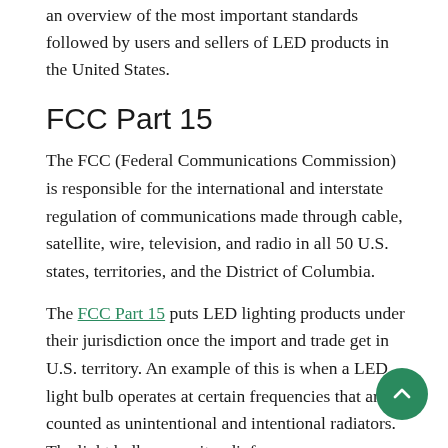an overview of the most important standards followed by users and sellers of LED products in the United States.
FCC Part 15
The FCC (Federal Communications Commission) is responsible for the international and interstate regulation of communications made through cable, satellite, wire, television, and radio in all 50 U.S. states, territories, and the District of Columbia.
The FCC Part 15 puts LED lighting products under their jurisdiction once the import and trade get in U.S. territory. An example of this is when a LED light bulb operates at certain frequencies that are counted as unintentional and intentional radiators. The light bulb can emit radiofrequency energy that may or may not interfere with regular radio communications.